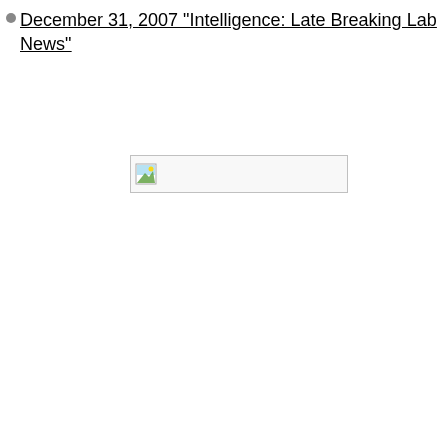December 31, 2007 "Intelligence: Late Breaking Lab News"
[Figure (other): Broken image placeholder icon with gray border]